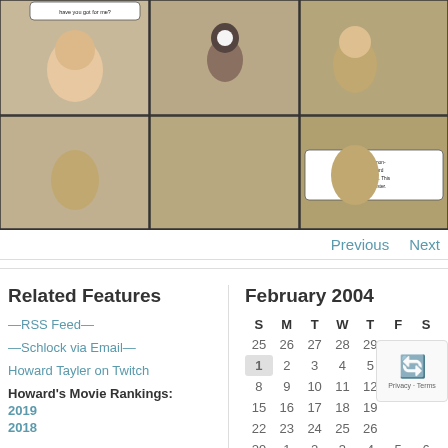[Figure (illustration): Webcomic strip with 6 panels (2 rows of 3). Characters include a bald man in olive/yellow uniform and a robot with a mushroom-shaped head. Dialogue includes science fiction themes about dark matter, chrono-dome, and chess. Panels show conversation and action scenes.]
Previous   Next
Related Features
—RSS Feed—
—Schlock via Email—
Howard Tayler on Twitch
Howard's Movie Rankings:
2019
2018
February 2004
| S | M | T | W | T | F | S |
| --- | --- | --- | --- | --- | --- | --- |
| 25 | 26 | 27 | 28 | 29 | 30 | 31 |
| 1 | 2 | 3 | 4 | 5 | 6 | 7 |
| 8 | 9 | 10 | 11 | 12 |  |  |
| 15 | 16 | 17 | 18 | 19 |  |  |
| 22 | 23 | 24 | 25 | 26 |  |  |
| 29 | 1 | 2 | 3 | 4 | 5 | 6 |